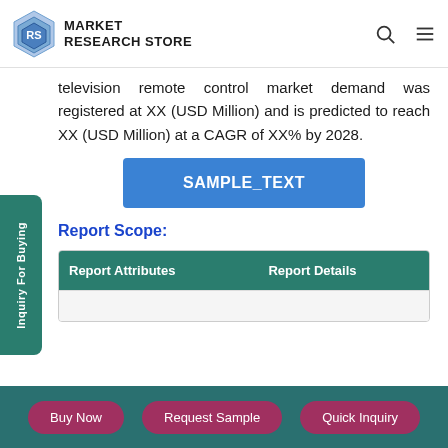MARKET RESEARCH STORE
television remote control market demand was registered at XX (USD Million) and is predicted to reach XX (USD Million) at a CAGR of XX% by 2028.
SAMPLE_TEXT
Report Scope:
| Report Attributes | Report Details |
| --- | --- |
Buy Now   Request Sample   Quick Inquiry